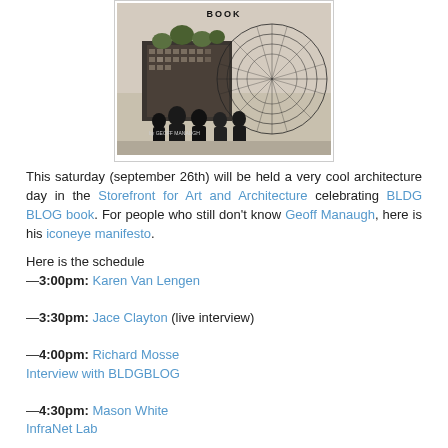[Figure (photo): Book cover image for BLDG BLOG book by Geoff Manaugh, showing silhouettes of people looking at an architectural structure, with a circular diagram element on the right. Displayed inside a light gray bordered frame.]
This saturday (september 26th) will be held a very cool architecture day in the Storefront for Art and Architecture celebrating BLDG BLOG book. For people who still don't know Geoff Manaugh, here is his iconeye manifesto.
Here is the schedule
—3:00pm: Karen Van Lengen
—3:30pm: Jace Clayton (live interview)
—4:00pm: Richard Mosse
Interview with BLDGBLOG
—4:30pm: Mason White
InfraNet Lab